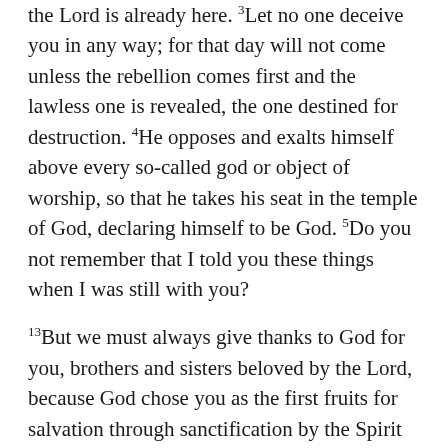the Lord is already here. 3Let no one deceive you in any way; for that day will not come unless the rebellion comes first and the lawless one is revealed, the one destined for destruction. 4He opposes and exalts himself above every so-called god or object of worship, so that he takes his seat in the temple of God, declaring himself to be God. 5Do you not remember that I told you these things when I was still with you?
13But we must always give thanks to God for you, brothers and sisters beloved by the Lord, because God chose you as the first fruits for salvation through sanctification by the Spirit and through belief in the truth. 14For this purpose he called you through our proclamation of the good news, so that you may obtain the glory of our Lord Jesus Christ. 15So then, brothers and sisters, stand firm and hold fast to the traditions that you were taught by us, either by word of mouth or by our letter.
16Now may our Lord Jesus Christ himself and God our Father, who loved us and through grace gave us eternal comfort and